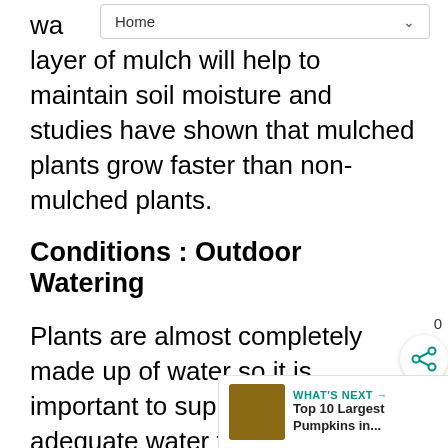Home
wa layer of mulch will help to maintain soil moisture and studies have shown that mulched plants grow faster than non-mulched plants.
Conditions : Outdoor Watering
Plants are almost completely made up of water so it is important to supply them with adequate water to maintain good plant health. Not enough water and roots will wither and the plant will wilt and die. Too much water applied too frequently deprives roots of oxygen leading to plant diseases such as root and stem rots. The type of plant, plant age, light level, soil type and container size all will impact when a